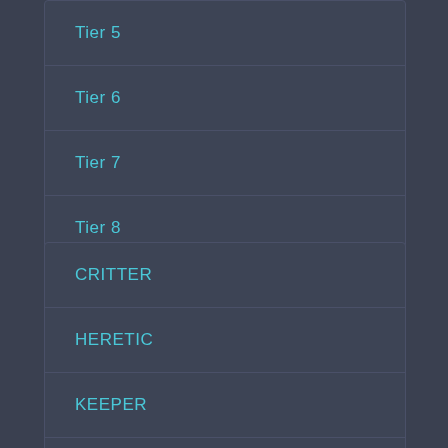Tier 5
Tier 6
Tier 7
Tier 8
CRITTER
HERETIC
KEEPER
dummy
AVALON